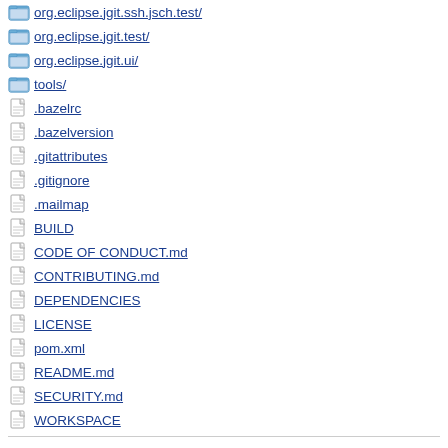org.eclipse.jgit.ssh.jsch.test/
org.eclipse.jgit.test/
org.eclipse.jgit.ui/
tools/
.bazelrc
.bazelversion
.gitattributes
.gitignore
.mailmap
BUILD
CODE OF CONDUCT.md
CONTRIBUTING.md
DEPENDENCIES
LICENSE
pom.xml
README.md
SECURITY.md
WORKSPACE